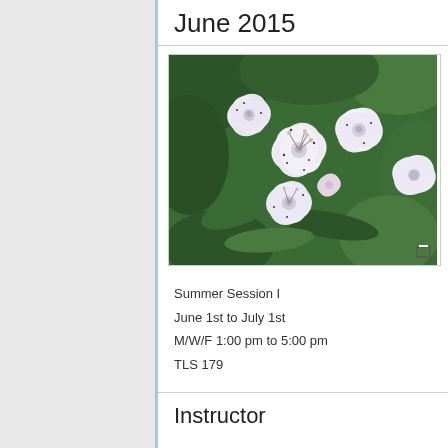June 2015
[Figure (photo): Close-up photograph of white mountain laurel flowers with pink and dark speckled details, against green foliage background]
Summer Session I
June 1st to July 1st
M/W/F 1:00 pm to 5:00 pm
TLS 179
Instructor